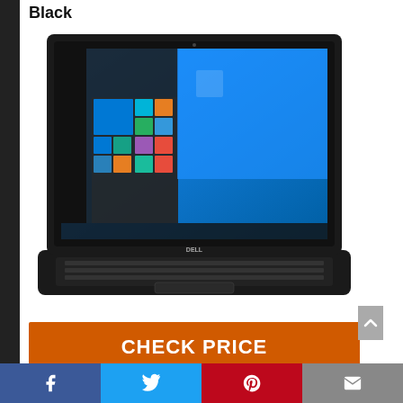Black
[Figure (photo): Dell laptop with black exterior, showing Windows 10 Start menu on screen]
CHECK PRICE
Feature
[Figure (infographic): Social media share bar with Facebook, Twitter, Pinterest, and email icons]